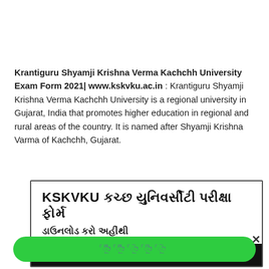Krantiguru Shyamji Krishna Verma Kachchh University Exam Form 2021| www.kskvku.ac.in : Krantiguru Shyamji Krishna Verma Kachchh University is a regional university in Gujarat, India that promotes higher education in regional and rural areas of the country. It is named after Shyamji Krishna Varma of Kachchh, Gujarat.
[Figure (screenshot): A promotional banner in Gujarati for KSKVKU Kachchh University Exam Form download, with a black section at the bottom and a green call-to-action bar.]